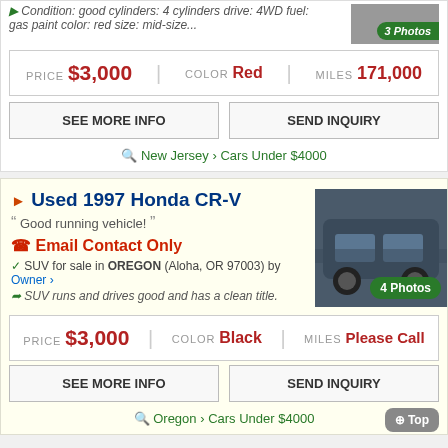Condition: good cylinders: 4 cylinders drive: 4WD fuel: gas paint color: red size: mid-size...
3 Photos
| PRICE | COLOR | MILES |
| --- | --- | --- |
| $3,000 | Red | 171,000 |
SEE MORE INFO | SEND INQUIRY
New Jersey > Cars Under $4000
Used 1997 Honda CR-V
Good running vehicle!
Email Contact Only
SUV for sale in OREGON (Aloha, OR 97003) by Owner ›
SUV runs and drives good and has a clean title.
4 Photos
| PRICE | COLOR | MILES |
| --- | --- | --- |
| $3,000 | Black | Please Call |
SEE MORE INFO | SEND INQUIRY
Oregon > Cars Under $4000